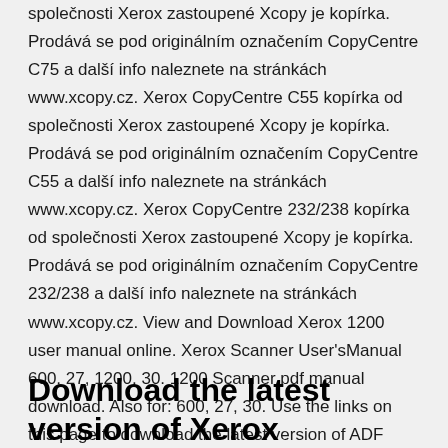společnosti Xerox zastoupené Xcopy je kopírka. Prodává se pod originálním označením CopyCentre C75 a další info naleznete na stránkách www.xcopy.cz. Xerox CopyCentre C55 kopírka od společnosti Xerox zastoupené Xcopy je kopírka. Prodává se pod originálním označením CopyCentre C55 a další info naleznete na stránkách www.xcopy.cz. Xerox CopyCentre 232/238 kopírka od společnosti Xerox zastoupené Xcopy je kopírka. Prodává se pod originálním označením CopyCentre 232/238 a další info naleznete na stránkách www.xcopy.cz. View and Download Xerox 1200 user manual online. Xerox Scanner User'sManual 600, 27, 1200, 30. 1200 Scanner pdf manual download. Also for: 600, 27, 30. Use the links on this page to download the latest version of ADF Scanner drivers. All drivers available for download have been scanned by antivirus program.
Download the latest version of Xerox